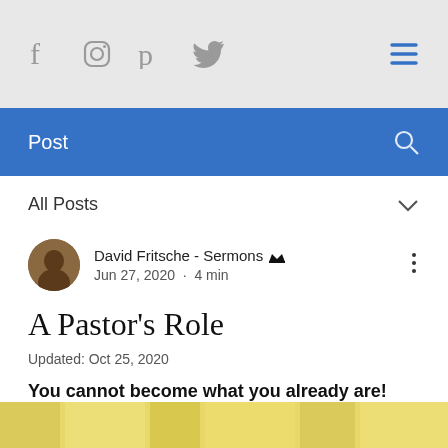Social icons nav bar with Facebook, Instagram, Pinterest, Twitter, and hamburger menu
Post
All Posts
David Fritsche - Sermons [crown] Jun 27, 2020 · 4 min
A Pastor's Role
Updated: Oct 25, 2020
You cannot become what you already are!
[Figure (photo): Yellow/golden horizontal image strip at bottom of page]